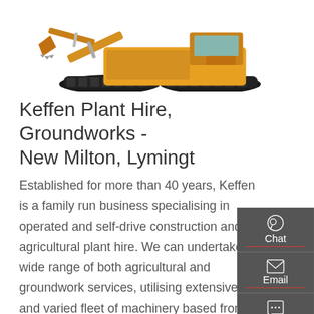[Figure (photo): Yellow excavator/digger machine photographed from the front-side, showing the bucket arm and crawler tracks, cropped at top of page]
Keffen Plant Hire, Groundworks - New Milton, Lymingt
Established for more than 40 years, Keffen is a family run business specialising in operated and self-drive construction and agricultural plant hire. We can undertake a wide range of both agricultural and groundwork services, utilising extensive and varied fleet of machinery based from our yard in …
[Figure (infographic): Dark grey sidebar panel with three contact options: Chat (headset icon), Email (envelope icon), Contact (speech bubble icon)]
Get a quote
[Figure (photo): Orange/red excavator arm and boom cropped at bottom of page, partially visible]